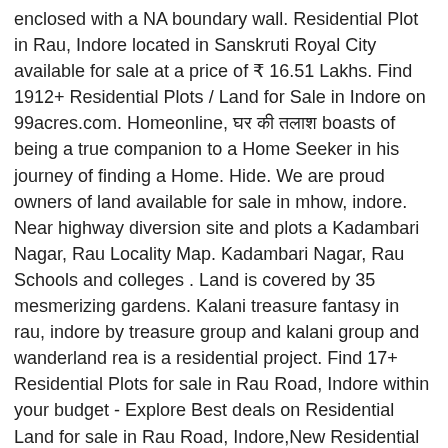enclosed with a NA boundary wall. Residential Plot in Rau, Indore located in Sanskruti Royal City available for sale at a price of ₹ 16.51 Lakhs. Find 1912+ Residential Plots / Land for Sale in Indore on 99acres.com. Homeonline, घर की तलाश boasts of being a true companion to a Home Seeker in his journey of finding a Home. Hide. We are proud owners of land available for sale in mhow, indore. Near highway diversion site and plots a Kadambari Nagar, Rau Locality Map. Kadambari Nagar, Rau Schools and colleges . Land is covered by 35 mesmerizing gardens. Kalani treasure fantasy in rau, indore by treasure group and kalani group and wanderland rea is a residential project. Find 17+ Residential Plots for sale in Rau Road, Indore within your budget - Explore Best deals on Residential Land for sale in Rau Road, Indore,New Residential Plots in Rau Road, Indore for Sale, Get verified list of Buy/Sell Residential Land in Rau Road, Indore. The property is available at a price of Rs. A residential plot @ Dream Victoria, Survey No..206/1,206/3,209/1,210/1,211-